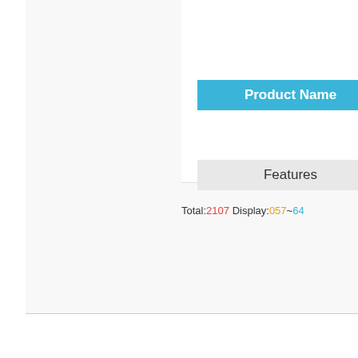Product Name
Features
Total:2107 Display:057~64